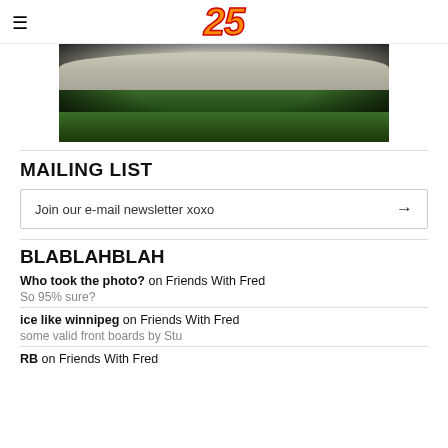25
[Figure (photo): Skateboarding photo showing a concrete ledge with grass and dark vignette, skateboarder visible at top]
MAILING LIST
Join our e-mail newsletter xoxo →
BLABLAHBLAH
Who took the photo? on Friends With Fred
So 95% sure?
ice like winnipeg on Friends With Fred
some valid front boards by Stu
RB on Friends With Fred